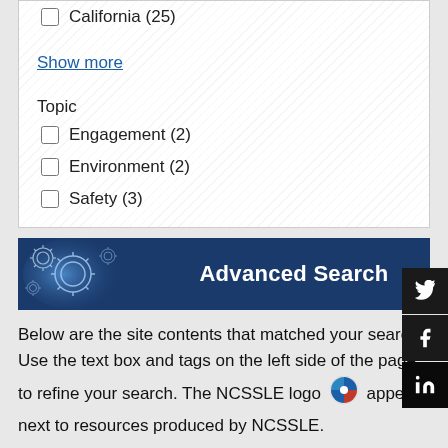California (25)
Show more
Topic
Engagement (2)
Environment (2)
Safety (3)
[Figure (other): Advanced Search banner with gear icons on dark blue background]
Below are the site contents that matched your search. Use the text box and tags on the left side of the page to refine your search. The NCSSLE logo appears next to resources produced by NCSSLE.
Displaying 1 - 10 of 11